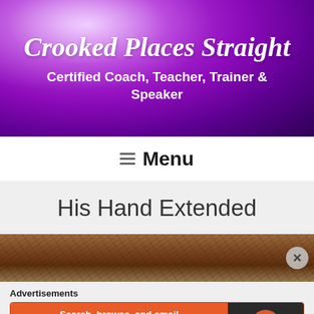Crooked Places Straight
Certified Coach, Teacher, Trainer & Speaker
≡ Menu
His Hand Extended
[Figure (photo): Close-up photograph of hair, dark brown, showing top of a person's head]
Advertisements
[Figure (screenshot): DuckDuckGo advertisement banner: 'Search, browse, and email with more privacy. All in One Free App' on orange background, with DuckDuckGo duck logo on dark right panel]